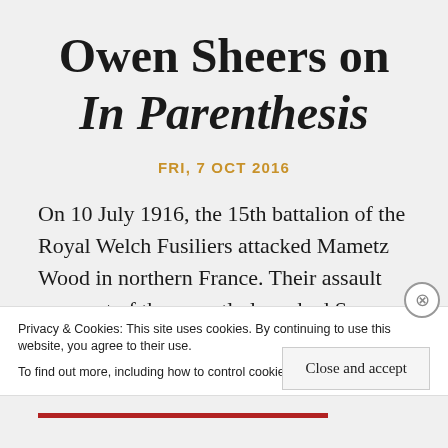Owen Sheers on In Parenthesis
FRI, 7 OCT 2016
On 10 July 1916, the 15th battalion of the Royal Welch Fusiliers attacked Mametz Wood in northern France. Their assault was part of the recently launched Somme offensive, and
Privacy & Cookies: This site uses cookies. By continuing to use this website, you agree to their use.
To find out more, including how to control cookies, see here: Cookie Policy
Close and accept